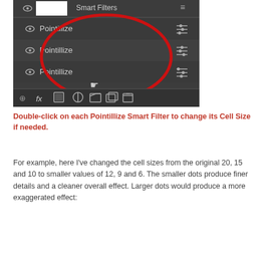[Figure (screenshot): Photoshop Layers panel showing a Smart Filters group with three Pointillize filters listed, each with an eye icon and adjustment icon. A red circle highlights the three Pointillize filters. A cursor hand icon is visible pointing at the filters. The panel toolbar is visible at the bottom with icons for fx, layer effects, etc.]
Double-click on each Pointillize Smart Filter to change its Cell Size if needed.
For example, here I've changed the cell sizes from the original 20, 15 and 10 to smaller values of 12, 9 and 6. The smaller dots produce finer details and a cleaner overall effect. Larger dots would produce a more exaggerated effect: